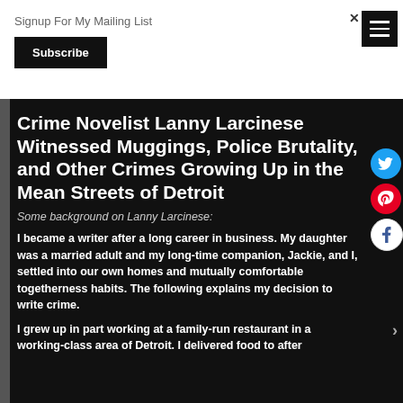Signup For My Mailing List
Subscribe
Crime Novelist Lanny Larcinese Witnessed Muggings, Police Brutality, and Other Crimes Growing Up in the Mean Streets of Detroit
Some background on Lanny Larcinese:
I became a writer after a long career in business. My daughter was a married adult and my long-time companion, Jackie, and I, settled into our own homes and mutually comfortable togetherness habits. The following explains my decision to write crime.
I grew up in part working at a family-run restaurant in a working-class area of Detroit. I delivered food to after